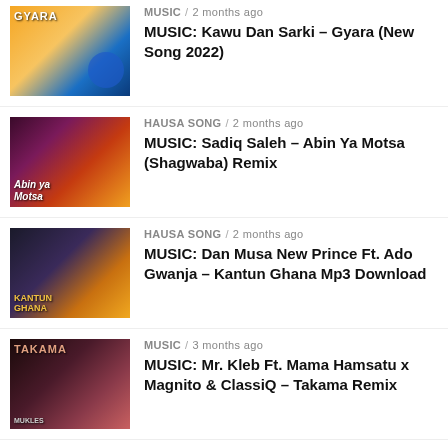MUSIC / 2 months ago — MUSIC: Kawu Dan Sarki – Gyara (New Song 2022)
HAUSA SONG / 2 months ago — MUSIC: Sadiq Saleh – Abin Ya Motsa (Shagwaba) Remix
HAUSA SONG / 2 months ago — MUSIC: Dan Musa New Prince Ft. Ado Gwanja – Kantun Ghana Mp3 Download
MUSIC / 3 months ago — MUSIC: Mr. Kleb Ft. Mama Hamsatu x Magnito & ClassiQ – Takama Remix
HAUSA SONG / 2 months ago — Naziru Sarkin Waka – Sai Mun Bata Wuta ( Wakar Atiku Abubakar PDP 2022 )